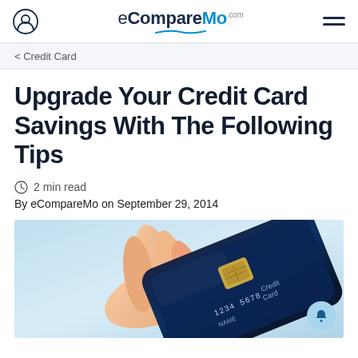eCompareMo.com
< Credit Card
Upgrade Your Credit Card Savings With The Following Tips
2 min read
By eCompareMo on September 29, 2014
[Figure (photo): A hand holding a smartphone that displays a credit card with chip, number 1234 5678 and text 'Credit Card']